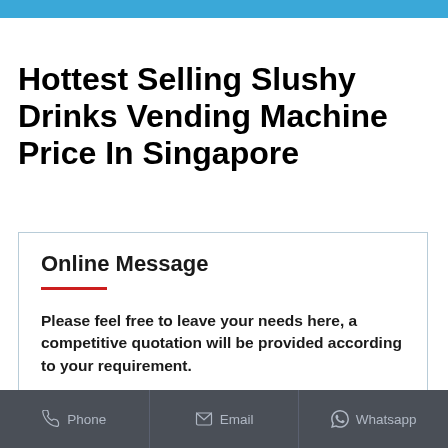Hottest Selling Slushy Drinks Vending Machine Price In Singapore
Online Message
Please feel free to leave your needs here, a competitive quotation will be provided according to your requirement.
Phone   Email   Whatsapp